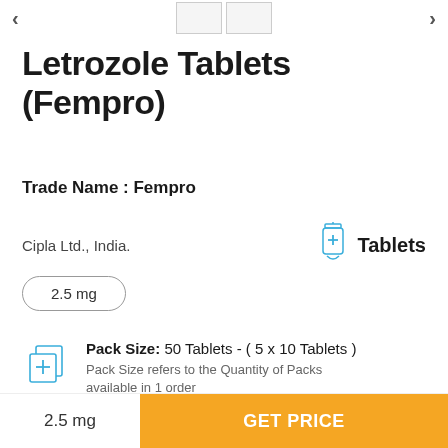[Figure (other): Navigation arrows and image thumbnails at the top]
Letrozole Tablets (Fempro)
Trade Name : Fempro
Cipla Ltd., India.
[Figure (illustration): Blue tube/tablet icon]
Tablets
2.5 mg
[Figure (illustration): Blue box/pack icon]
Pack Size: 50 Tablets - ( 5 x 10 Tablets )
Pack Size refers to the Quantity of Packs available in 1 order
2.5 mg
GET PRICE